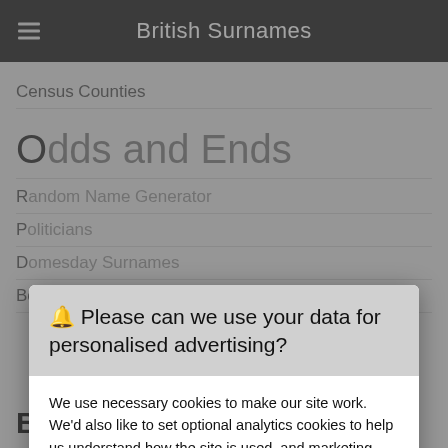British Surnames
Census Counties
Odds and Ends
Random Name Generator
Politicians
Domesday Surnames
Bookmarks
🔔 Please can we use your data for personalised advertising?
We use necessary cookies to make our site work. We'd also like to set optional analytics cookies to help us understand how the site is used, and marketing cookies to help ensure that you see relevant advertising. You can allow all cookies or manage them individually.
More information
Accept Cookies
Customise Cookies
Background Reading